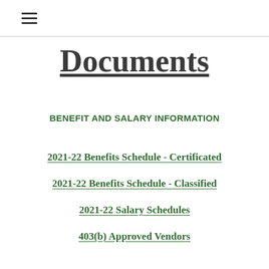≡
Documents
BENEFIT AND SALARY INFORMATION
2021-22 Benefits Schedule - Certificated
2021-22 Benefits Schedule - Classified
2021-22 Salary Schedules
403(b) Approved Vendors